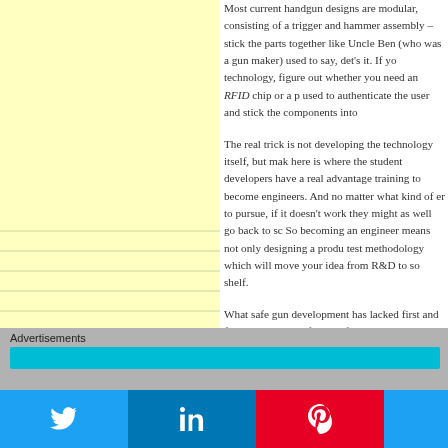Most current handgun designs are modular, consisting of a trigger and hammer assembly – stick the parts together like Uncle Ben (who was a gun maker) used to say, det's it. If you technology, figure out whether you need an RFID chip or a p used to authenticate the user and stick the components into
The real trick is not developing the technology itself, but mak here is where the student developers have a real advantage training to become engineers. And no matter what kind of en to pursue, if it doesn't work they might as well go back to sc So becoming an engineer means not only designing a produ test methodology which will move your idea from R&D to so shelf.
What safe gun development has lacked first and foremost is will define a safe gun and a test protocol that will validate tha idea. The million-dollar award announced by Eric Adams is a requirements which means that, yes Virginia, safe guns will
Advertisements
Advertisements